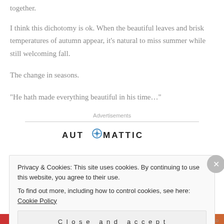together.
I think this dichotomy is ok. When the beautiful leaves and brisk temperatures of autumn appear, it’s natural to miss summer while still welcoming fall.
The change in seasons.
“He hath made everything beautiful in his time…”
Advertisements
[Figure (logo): Automattic logo with stylized O containing a circular icon]
Privacy & Cookies: This site uses cookies. By continuing to use this website, you agree to their use.
To find out more, including how to control cookies, see here: Cookie Policy
Close and accept